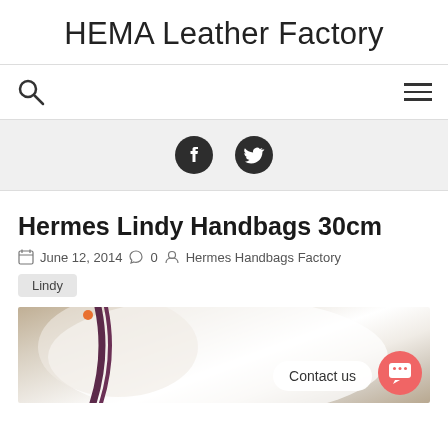HEMA Leather Factory
[Figure (infographic): Navigation bar with search icon (magnifying glass) on the left and hamburger menu icon on the right]
[Figure (infographic): Social media bar on grey background with Facebook and Twitter icons]
Hermes Lindy Handbags 30cm
June 12, 2014   0   Hermes Handbags Factory
Lindy
[Figure (photo): Photo of a Hermes Lindy handbag in white dust bag with purple/plum strap visible, with a Contact us button and chat bubble overlay]